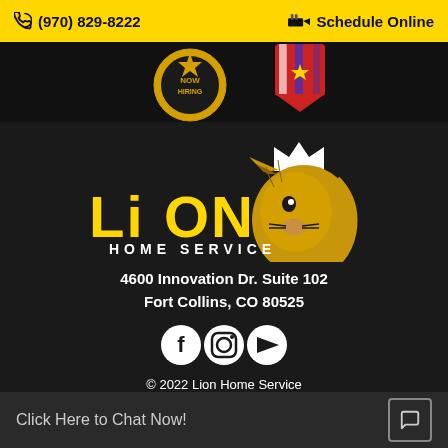📞 (970) 829-8222   🚚 Schedule Online
[Figure (illustration): Dark strip with badges/awards including 'Now Hiring' badge and a red/white/blue ribbon award badge]
[Figure (logo): Lion Home Service logo: large yellow text 'LiON HOME SERVICE' with a golden crowned lion head graphic]
4600 Innovation Dr. Suite 102
Fort Collins, CO 80525
[Figure (other): Social media icons row: Facebook, Instagram, YouTube — white circles on dark background]
© 2022 Lion Home Service
Privacy Policy | Terms & Conditions
Click Here to Chat Now!